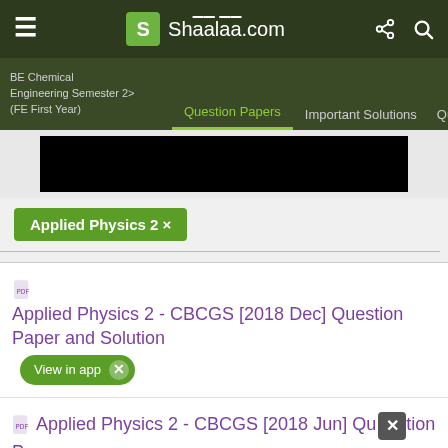Shaalaa.com
BE Chemical Engineering Semester 2> (FE First Year) | Question Papers | Important Solutions | Que
[Figure (screenshot): Black advertisement or video banner area]
Applied Physics 2 ×
Applied Physics 2 - CBCGS [2018 Dec] Question Paper and Solution — View in app ×
Applied Physics 2 - CBCGS [2018 Jun] Question Paper
Applied Physics 2 - ... Question Paper (partial, overlaid)